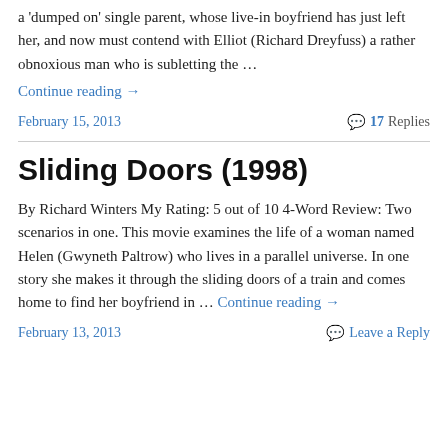a 'dumped on' single parent, whose live-in boyfriend has just left her, and now must contend with Elliot (Richard Dreyfuss) a rather obnoxious man who is subletting the … Continue reading →
February 15, 2013
17 Replies
Sliding Doors (1998)
By Richard Winters My Rating: 5 out of 10 4-Word Review: Two scenarios in one. This movie examines the life of a woman named Helen (Gwyneth Paltrow) who lives in a parallel universe. In one story she makes it through the sliding doors of a train and comes home to find her boyfriend in … Continue reading →
February 13, 2013
Leave a Reply